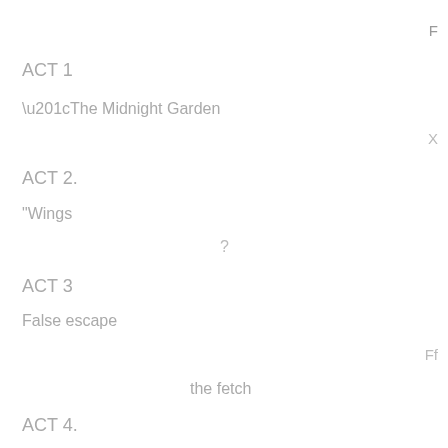F
ACT 1
“The Midnight Garden
X
ACT 2.
“Wings
?
ACT 3
False escape
Ff
the fetch
ACT 4.